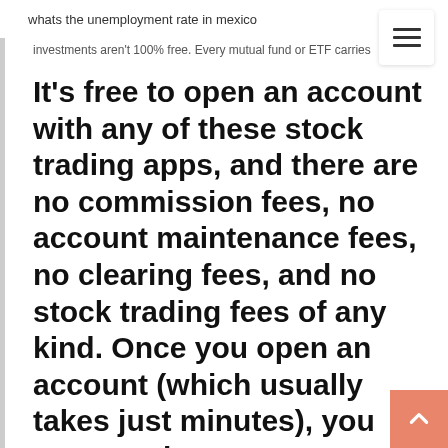whats the unemployment rate in mexico
investments aren't 100% free. Every mutual fund or ETF carries
It’s free to open an account with any of these stock trading apps, and there are no commission fees, no account maintenance fees, no clearing fees, and no stock trading fees of any kind. Once you open an account (which usually takes just minutes), you can use these apps to trade individual stocks